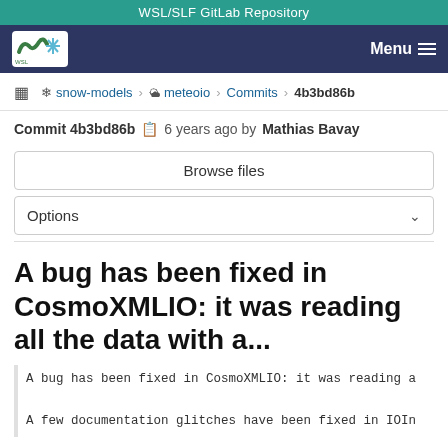WSL/SLF GitLab Repository
snow-models > meteoio > Commits > 4b3bd86b
Commit 4b3bd86b  6 years ago by Mathias Bavay
Browse files
Options
A bug has been fixed in CosmoXMLIO: it was reading all the data with a...
A bug has been fixed in CosmoXMLIO: it was reading a
A few documentation glitches have been fixed in IOIn